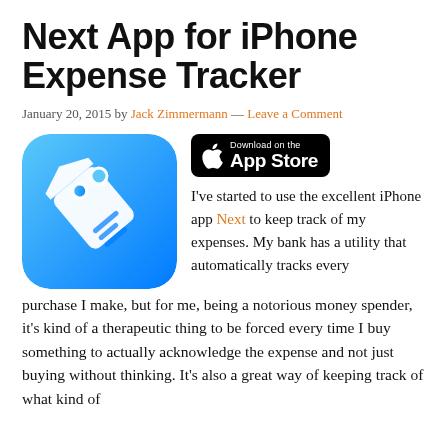Next App for iPhone Expense Tracker
January 20, 2015 by Jack Zimmermann — Leave a Comment
[Figure (illustration): App icon for Next expense tracker app — blue gradient background with white price tag icon]
[Figure (logo): Download on the App Store badge — black rounded rectangle with Apple logo and text]
I've started to use the excellent iPhone app Next to keep track of my expenses. My bank has a utility that automatically tracks every purchase I make, but for me, being a notorious money spender, it's kind of a therapeutic thing to be forced every time I buy something to actually acknowledge the expense and not just buying without thinking. It's also a great way of keeping track of what kind of